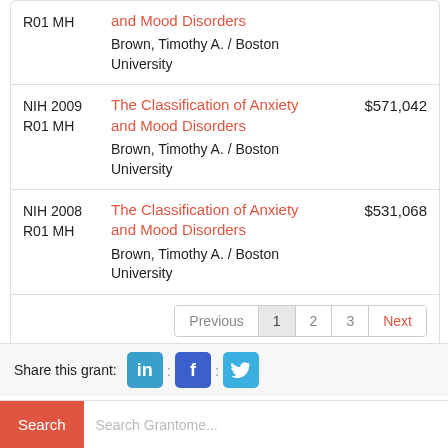| Code | Title / PI | Amount |
| --- | --- | --- |
| R01 MH | and Mood Disorders
Brown, Timothy A. / Boston University |  |
| NIH 2009 R01 MH | The Classification of Anxiety and Mood Disorders
Brown, Timothy A. / Boston University | $571,042 |
| NIH 2008 R01 MH | The Classification of Anxiety and Mood Disorders
Brown, Timothy A. / Boston University | $531,068 |
Showing 1 to 10 of 30 entries
Share this grant:
Search Grantome...